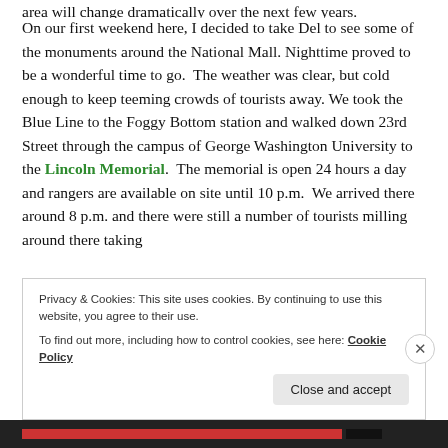area will change dramatically over the next few years.
On our first weekend here, I decided to take Del to see some of the monuments around the National Mall. Nighttime proved to be a wonderful time to go.  The weather was clear, but cold enough to keep teeming crowds of tourists away. We took the Blue Line to the Foggy Bottom station and walked down 23rd Street through the campus of George Washington University to the Lincoln Memorial.  The memorial is open 24 hours a day and rangers are available on site until 10 p.m.  We arrived there around 8 p.m. and there were still a number of tourists milling around there taking
Privacy & Cookies: This site uses cookies. By continuing to use this website, you agree to their use.
To find out more, including how to control cookies, see here: Cookie Policy